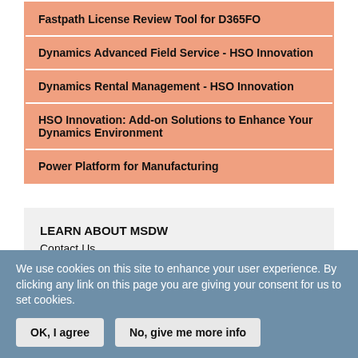Fastpath License Review Tool for D365FO
Dynamics Advanced Field Service - HSO Innovation
Dynamics Rental Management - HSO Innovation
HSO Innovation: Add-on Solutions to Enhance Your Dynamics Environment
Power Platform for Manufacturing
LEARN ABOUT MSDW
Contact Us
Write for MSDW
SITE LINKS
We use cookies on this site to enhance your user experience. By clicking any link on this page you are giving your consent for us to set cookies.